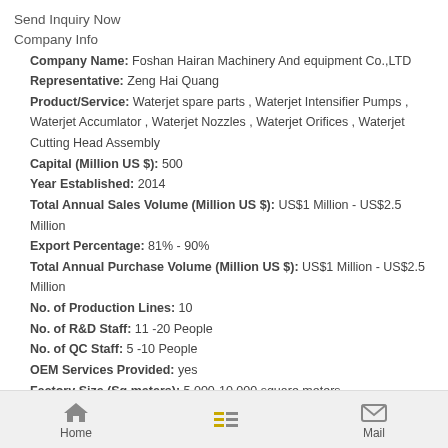Send Inquiry Now
Company Info
Company Name: Foshan Hairan Machinery And equipment Co.,LTD
Representative: Zeng Hai Quang
Product/Service: Waterjet spare parts , Waterjet Intensifier Pumps , Waterjet Accumlator , Waterjet Nozzles , Waterjet Orifices , Waterjet Cutting Head Assembly
Capital (Million US $): 500
Year Established: 2014
Total Annual Sales Volume (Million US $): US$1 Million - US$2.5 Million
Export Percentage: 81% - 90%
Total Annual Purchase Volume (Million US $): US$1 Million - US$2.5 Million
No. of Production Lines: 10
No. of R&D Staff: 11 -20 People
No. of QC Staff: 5 -10 People
OEM Services Provided: yes
Factory Size (Sq.meters): 5,000-10,000 square meters
Factory Location: 佛山市禅城区石湾镇街道8号
Contact Person: Mr. penny
Tel: 86--15302405831
Premium Related Products
Forged Brass Swing Check Valve
Delrin Pom Check Valve For Ro Purifier
Other Products
Home | Mail